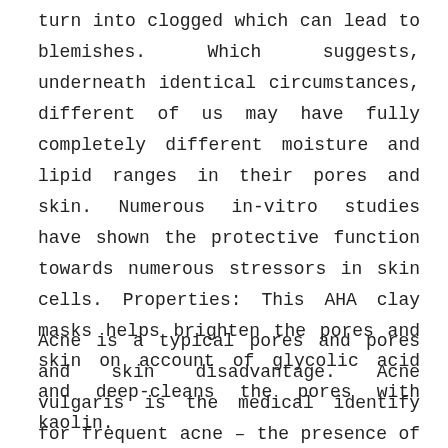turn into clogged which can lead to blemishes. Which suggests, underneath identical circumstances, different of us may have fully completely different moisture and lipid ranges in their pores and skin. Numerous in-vitro studies have shown the protective function towards numerous stressors in skin cells. Properties: This AHA clay masks helps brighten the pores and skin on account of glycolic acid and deep-cleans the pores with kaolin.
Acne is a typical pores and pores and skin disadvantage. Acne vulgaris is the medical identify for frequent acne – the presence of blackheads, whiteheads, and different varieties of pimples on the pores and skin. After making use of hair products, swipe a